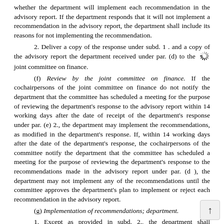whether the department will implement each recommendation in the advisory report. If the department responds that it will not implement a recommendation in the advisory report, the department shall include its reasons for not implementing the recommendation.
2. Deliver a copy of the response under subd. 1 . and a copy of the advisory report the department received under par. (d) to the joint committee on finance.
(f) Review by the joint committee on finance. If the cochairpersons of the joint committee on finance do not notify the department that the committee has scheduled a meeting for the purpose of reviewing the department's response to the advisory report within 14 working days after the date of receipt of the department's response under par. (e) 2., the department may implement the recommendations, as modified in the department's response. If, within 14 working days after the date of the department's response, the cochairpersons of the committee notify the department that the committee has scheduled a meeting for the purpose of reviewing the department's response to the recommendations made in the advisory report under par. (d ), the department may not implement any of the recommendations until the committee approves the department's plan to implement or reject each recommendation in the advisory report.
(g) Implementation of recommendations; department.
1. Except as provided in subd. 2., the department shall implement the recommendations related to the financial information portal, including any modifications approved under